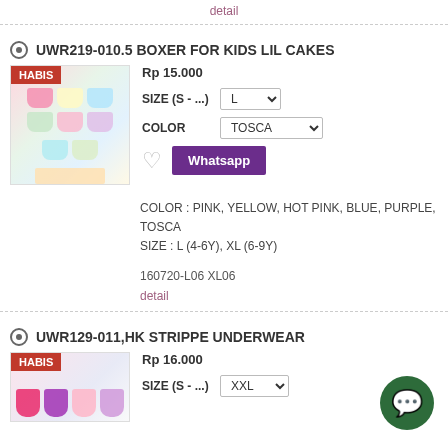detail
UWR219-010.5 BOXER FOR KIDS LIL CAKES
[Figure (photo): Product image of boxer underwear for kids with HABIS (sold out) badge, showing colorful pastel boxers]
Rp 15.000
SIZE (S - ...)  L
COLOR  TOSCA
Whatsapp
COLOR : PINK, YELLOW, HOT PINK, BLUE, PURPLE, TOSCA
SIZE : L (4-6Y), XL (6-9Y)
160720-L06 XL06
detail
UWR129-011,HK STRIPPE UNDERWEAR
[Figure (photo): Product image of Hello Kitty striped underwear with HABIS badge]
Rp 16.000
SIZE (S - ...)  XXL